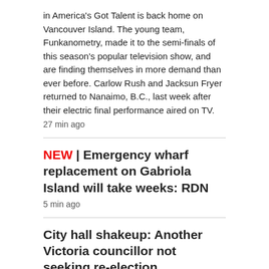in America's Got Talent is back home on Vancouver Island. The young team, Funkanometry, made it to the semi-finals of this season's popular television show, and are finding themselves in more demand than ever before. Carlow Rush and Jacksun Fryer returned to Nanaimo, B.C., last week after their electric final performance aired on TV.
27 min ago
NEW | Emergency wharf replacement on Gabriola Island will take weeks: RDN
5 min ago
City hall shakeup: Another Victoria councillor not seeking re-election
1 hr ago
CALGARY >